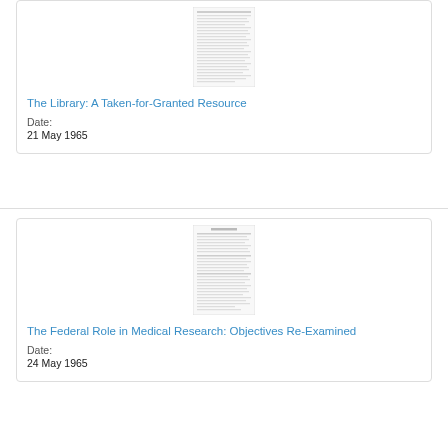[Figure (screenshot): Thumbnail image of a document page with dense text, shown in grayscale]
The Library: A Taken-for-Granted Resource
Date:
21 May 1965
[Figure (screenshot): Thumbnail image of a document page with dense text and a heading, shown in grayscale]
The Federal Role in Medical Research: Objectives Re-Examined
Date:
24 May 1965